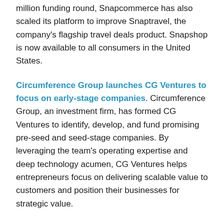million funding round, Snapcommerce has also scaled its platform to improve Snaptravel, the company's flagship travel deals product. Snapshop is now available to all consumers in the United States.
Circumference Group launches CG Ventures to focus on early-stage companies. Circumference Group, an investment firm, has formed CG Ventures to identify, develop, and fund promising pre-seed and seed-stage companies. By leveraging the team's operating expertise and deep technology acumen, CG Ventures helps entrepreneurs focus on delivering scalable value to customers and position their businesses for strategic value.
eBay extends free-listing promotion in Canada. To help Canadian sellers manage their listings, eBay has offered zero insertion fees on the first 100,000 listings. This promotion was slated to end on December 31, 2021. Due to positive